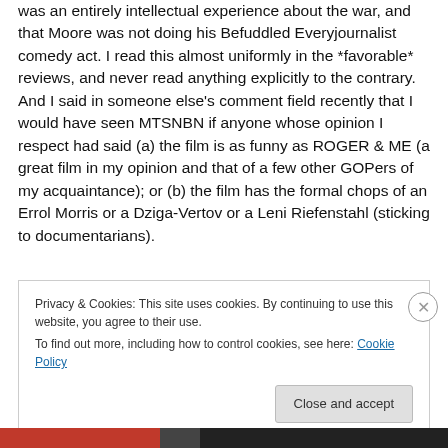was an entirely intellectual experience about the war, and that Moore was not doing his Befuddled Everyjournalist comedy act. I read this almost uniformly in the *favorable* reviews, and never read anything explicitly to the contrary. And I said in someone else's comment field recently that I would have seen MTSNBN if anyone whose opinion I respect had said (a) the film is as funny as ROGER & ME (a great film in my opinion and that of a few other GOPers of my acquaintance); or (b) the film has the formal chops of an Errol Morris or a Dziga-Vertov or a Leni Riefenstahl (sticking to documentarians).
Privacy & Cookies: This site uses cookies. By continuing to use this website, you agree to their use.
To find out more, including how to control cookies, see here: Cookie Policy